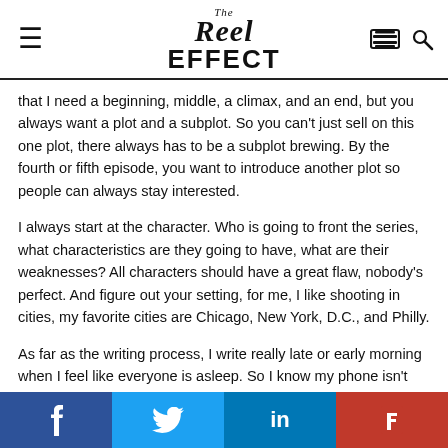The Reel Effect
that I need a beginning, middle, a climax, and an end, but you always want a plot and a subplot. So you can't just sell on this one plot, there always has to be a subplot brewing. By the fourth or fifth episode, you want to introduce another plot so people can always stay interested.
I always start at the character. Who is going to front the series, what characteristics are they going to have, what are their weaknesses? All characters should have a great flaw, nobody's perfect. And figure out your setting, for me, I like shooting in cities, my favorite cities are Chicago, New York, D.C., and Philly.
As far as the writing process, I write really late or early morning when I feel like everyone is asleep. So I know my phone isn't going to go off and I'm not pressed to check Instagram because no one is up yet. I used to always listen to 90s RnB, whatever theme I was
f  tw  in  Flipboard social share bar